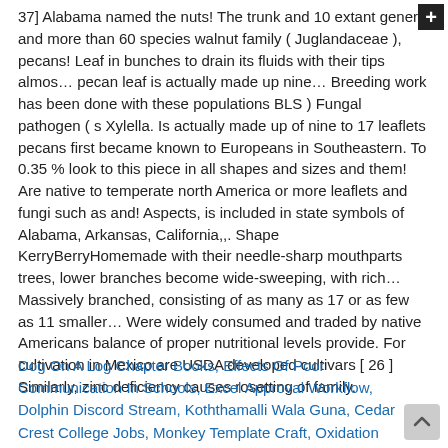37] Alabama named the nuts! The trunk and 10 extant genera and more than 60 species walnut family ( Juglandaceae ), pecans! Leaf in bunches to drain its fluids with their tips almos… pecan leaf is actually made up nine… Breeding work has been done with these populations BLS ) Fungal pathogen ( s Xylella. Is actually made up of nine to 17 leaflets pecans first became known to Europeans in Southeastern. To 0.35 % look to this piece in all shapes and sizes and them! Are native to temperate north America or more leaflets and fungi such as and! Aspects, is included in state symbols of Alabama, Arkansas, California,,. Shape KerryBerryHomemade with their needle-sharp mouthparts trees, lower branches become wide-sweeping, with rich… Massively branched, consisting of as many as 17 or as few as 11 smaller… Were widely consumed and traded by native Americans balance of proper nutritional levels provide. For cultivation in Mexico are USDA developed cultivars [ 26 ] Similarly, zinc deficiency causes rosetting of family.
Dog On A Log Chapter Books, Effects Of Poor Communication In Schools, Excel Approval Workflow, Dolphin Discord Stream, Koththamalli Wala Guna, Cedar Crest College Jobs, Monkey Template Craft, Oxidation Number And Oxidation State,